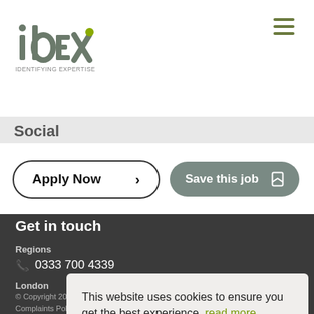[Figure (logo): IDEX logo with text 'IDENTIFYING EXPERTISE' below]
Social
Apply Now >
Save this job
Get in touch
Regions
0333 700 4339
London
This website uses cookies to ensure you get the best experience. read more
Got it!
© Copyright 2021 IDEX Consulting Ltd. All Rights reserved.
Complaints Policy   Privacy   Cookie